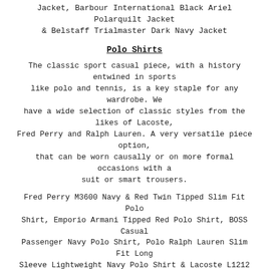Jacket, Barbour International Black Ariel Polarquilt Jacket & Belstaff Trialmaster Dark Navy Jacket
Polo Shirts
The classic sport casual piece, with a history entwined in sports like polo and tennis, is a key staple for any wardrobe. We have a wide selection of classic styles from the likes of Lacoste, Fred Perry and Ralph Lauren. A very versatile piece option, that can be worn causally or on more formal occasions with a suit or smart trousers.
Fred Perry M3600 Navy & Red Twin Tipped Slim Fit Polo Shirt, Emporio Armani Tipped Red Polo Shirt, BOSS Casual Passenger Navy Polo Shirt, Polo Ralph Lauren Slim Fit Long Sleeve Lightweight Navy Polo Shirt & Lacoste L1212 Red Classic Fit Pique Polo Shirt
T-Shirts
Be it winter or summer there is always a place for t-shirts in an outfit, you can wear one under a open shirt or an overshirt and even go for a long sleeve option under a jacket. We have a great collection that can be utilised in all seasons and with all outfit types.